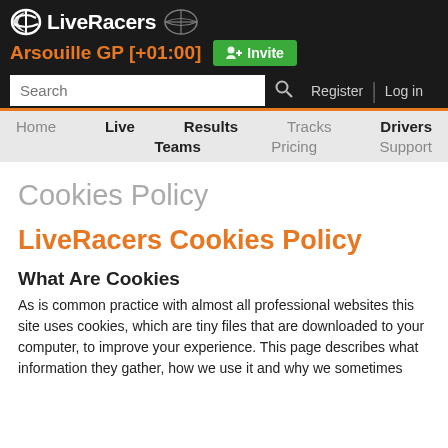LiveRacers — Arsouille GP [+01:00] | Invite | Search | Register | Log in
Cookies Policy
LiveRacers Cookies Policy
What Are Cookies
As is common practice with almost all professional websites this site uses cookies, which are tiny files that are downloaded to your computer, to improve your experience. This page describes what information they gather, how we use it and why we sometimes